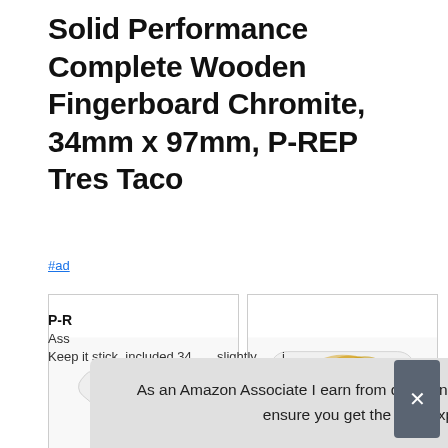Solid Performance Complete Wooden Fingerboard Chromite, 34mm x 97mm, P-REP Tres Taco
#ad
[Figure (photo): Two fingerboard decks crossed over each other showing the P-REP Tres Taco graphic (tacos illustration) on the top deck]
[Figure (photo): Fingerboard assembly showing the deck with P-REP Tres Taco graphic on top, mounted trucks with wheels visible below]
As an Amazon Associate I earn from qualifying purchases. This website uses the only necessary cookies to ensure you get the best experience on our website. More information
P-R
Ass
Keep it stick, included 34...               slightly...               i